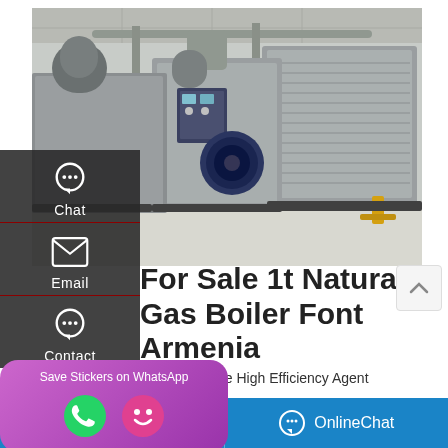[Figure (photo): Industrial boiler room with multiple large natural gas steam boilers, stainless steel units with blue circular burner fronts, pipes overhead, in a white-floored facility]
For Sale 1t Natural Gas Boiler Font Armenia
Boiler Machine High Efficiency Agent Azerbaijan.
Automatic Gas Oil fired Boiler Manufacturer Natural Gas Hot
heavy oil fired steam generator by